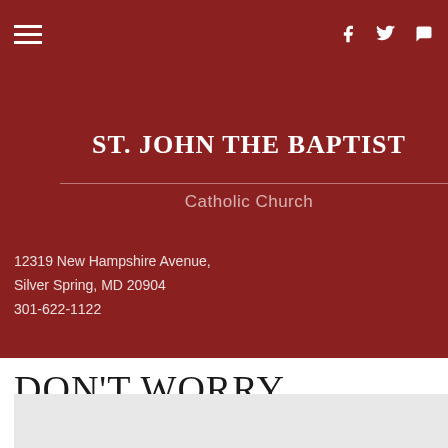St. John the Baptist Catholic Church navigation bar
ST. JOHN THE BAPTIST
Catholic Church
12319 New Hampshire Avenue, Silver Spring, MD 20904
301-622-1122
DON'T WORRY
[Figure (photo): Gray image placeholder at bottom of page]